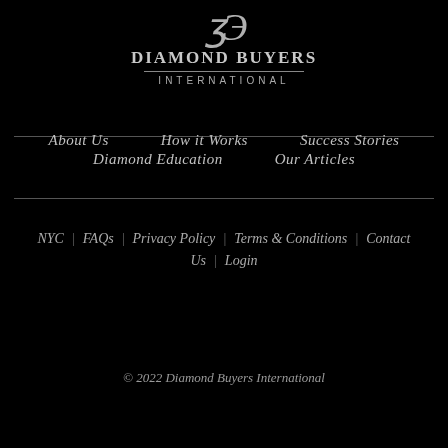[Figure (logo): Diamond Buyers International logo with stylized DB monogram, company name, and INTERNATIONAL subtitle]
About Us | How it Works | Success Stories | Diamond Education | Our Articles
NYC | FAQs | Privacy Policy | Terms & Conditions | Contact Us | Login
© 2022 Diamond Buyers International